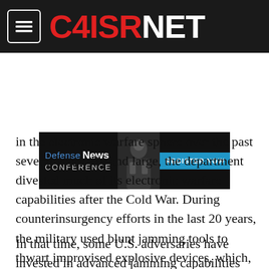C4ISRNET
[Figure (screenshot): Defense News Conference advertisement banner with 'REGISTER NOW' button on blue background]
in the electronic warfare sphere over the past several years. By and large, the department divested much of its electronic warfare capabilities after the Cold War. During counterinsurgency efforts in the last 20 years, the military used blunt jamming tools to thwart improvised explosive devices, which, in turn, inadvertently jammed friendly systems.
In that time, some U.S. adversaries have invested in advanced jamming capabilities and geolocation systems that can target